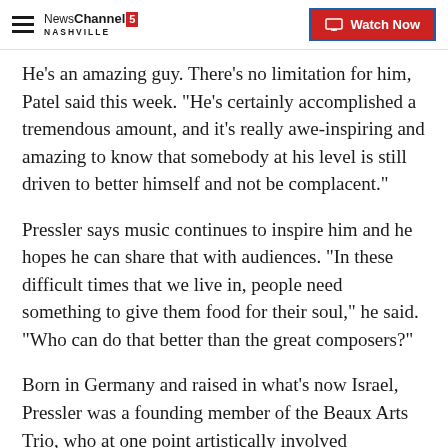NewsChannel 5 Nashville | Watch Now
He's an amazing guy. There's no limitation for him, Patel said this week. "He's certainly accomplished a tremendous amount, and it's really awe-inspiring and amazing to know that somebody at his level is still driven to better himself and not be complacent."
Pressler says music continues to inspire him and he hopes he can share that with audiences. "In these difficult times that we live in, people need something to give them food for their soul," he said. "Who can do that better than the great composers?"
Born in Germany and raised in what's now Israel, Pressler was a founding member of the Beaux Arts Trio, who at one point...